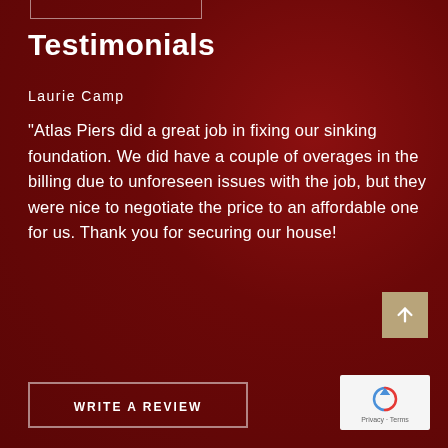Testimonials
Laurie Camp
"Atlas Piers did a great job in fixing our sinking foundation. We did have a couple of overages in the billing due to unforeseen issues with the job, but they were nice to negotiate the price to an affordable one for us. Thank you for securing our house!
WRITE A REVIEW